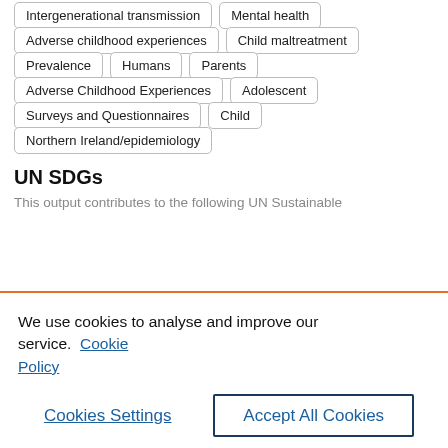Intergenerational transmission
Mental health
Adverse childhood experiences
Child maltreatment
Prevalence
Humans
Parents
Adverse Childhood Experiences
Adolescent
Surveys and Questionnaires
Child
Northern Ireland/epidemiology
UN SDGs
This output contributes to the following UN Sustainable
We use cookies to analyse and improve our service.  Cookie Policy
Cookies Settings
Accept All Cookies